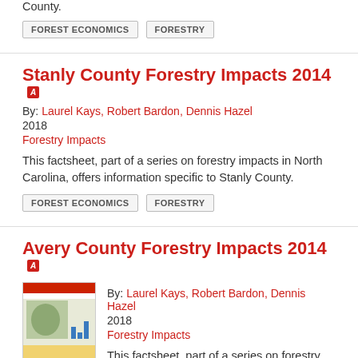County.
FOREST ECONOMICS
FORESTRY
Stanly County Forestry Impacts 2014
By: Laurel Kays, Robert Bardon, Dennis Hazel
2018
Forestry Impacts
This factsheet, part of a series on forestry impacts in North Carolina, offers information specific to Stanly County.
FOREST ECONOMICS
FORESTRY
Avery County Forestry Impacts 2014
By: Laurel Kays, Robert Bardon, Dennis Hazel
2018
Forestry Impacts
This factsheet, part of a series on forestry